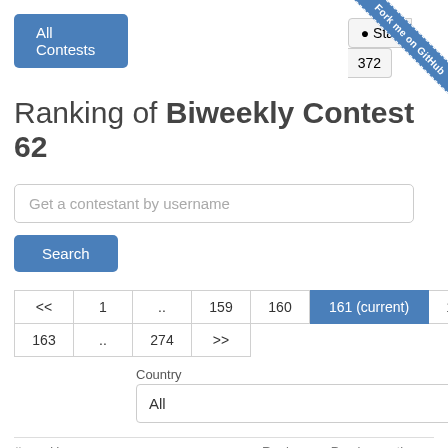[Figure (screenshot): GitHub ribbon 'Fork me on GitHub' in top right corner]
All Contests
Star 372
Ranking of Biweekly Contest 62
Get a contestant by username
Search
| << | 1 | .. | 159 | 160 | 161 (current) | 162 |
| 163 | .. | 274 | >> |  |  |  |
Country
All
# Username Rank Previous rating